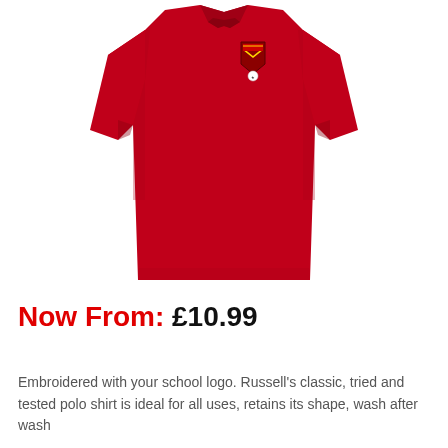[Figure (photo): Red school polo shirt with embroidered school crest/badge on the left chest, short sleeves, displayed on a white background.]
Now From: £10.99
Embroidered with your school logo. Russell's classic, tried and tested polo shirt is ideal for all uses, retains its shape, wash after wash